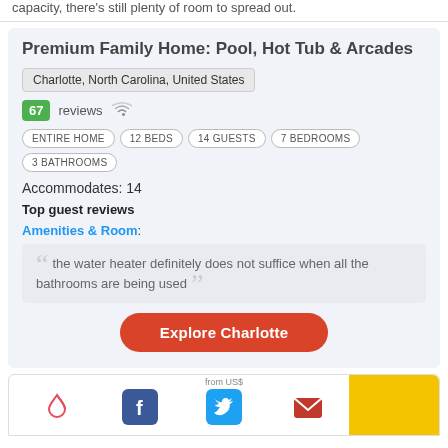capacity, there's still plenty of room to spread out.
Premium Family Home: Pool, Hot Tub & Arcades
Charlotte, North Carolina, United States
67 reviews
ENTIRE HOME  12 BEDS  14 GUESTS  7 BEDROOMS  3 BATHROOMS
Accommodates: 14
Top guest reviews
Amenities & Room:
the water heater definitely does not suffice when all the bathrooms are being used
Explore Charlotte